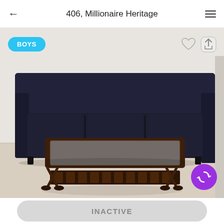406, Millionaire Heritage
[Figure (photo): Interior photo of a room showing a dark navy/black leather sofa against a white wall, with a dark wooden coffee table with glass top and slatted lower shelf in the foreground. A cyan badge labeled BOYS is in the top-left corner. Heart and share icons are in the top-right corner. A purple refresh/sync circular button is in the bottom-right corner.]
INACTIVE